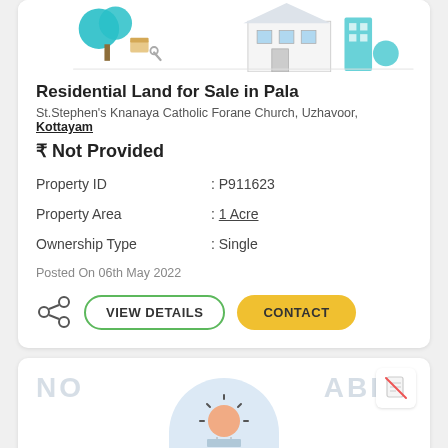[Figure (illustration): Illustration of residential property/house with trees]
Residential Land for Sale in Pala
St.Stephen's Knanaya Catholic Forane Church, Uzhavoor, Kottayam
₹ Not Provided
| Property | Value |
| --- | --- |
| Property ID | : P911623 |
| Property Area | : 1 Acre |
| Ownership Type | : Single |
Posted On 06th May 2022
VIEW DETAILS  CONTACT
[Figure (illustration): NOT AVAILABLE watermark with light bulb illustration and no-document icon]